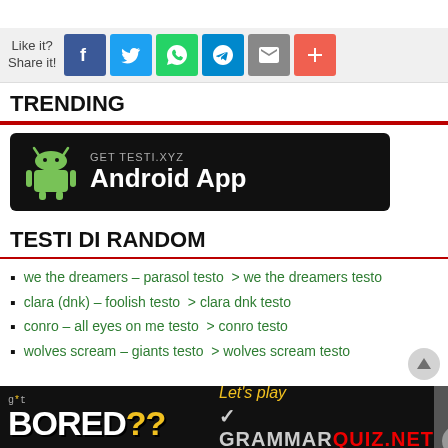[Figure (infographic): Social share bar with 'Like it? Share it!' label and Facebook, Twitter, WhatsApp, Telegram, Email, and Plus buttons]
TRENDING
[Figure (infographic): Black Android App banner: GET TESTI.XYZ Android App with Android robot logo]
TESTI DI RANDOM
we the dreamers – parasol testo  > we the dreamers testo
clara (dnk) – foolish testo  > clara dnk testo
conro – all eyes on me testo  > conro testo
wolves scream – giants testo  > wolves scream testo
[Figure (infographic): Bottom advertisement bar: 'got BORED??' on left, 'Let's play GRAMMARQUIZ.NET' on right with person photo]